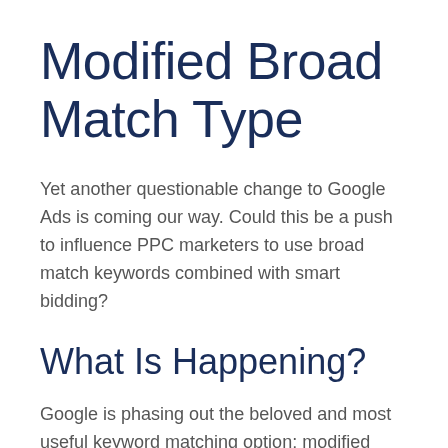Modified Broad Match Type
Yet another questionable change to Google Ads is coming our way. Could this be a push to influence PPC marketers to use broad match keywords combined with smart bidding?
What Is Happening?
Google is phasing out the beloved and most useful keyword matching option: modified broad match (such as "+why +google").
The most important aspect of this matching type is that the keyword terms do not have to be in the